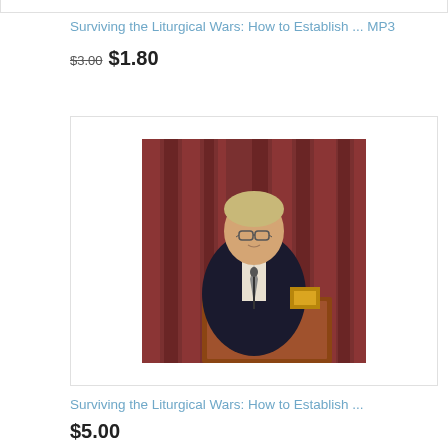Surviving the Liturgical Wars: How to Establish ... MP3
$3.00 $1.80
[Figure (photo): A middle-aged man with glasses and a dark suit speaking at a wooden podium with a microphone, in front of dark red curtains.]
Surviving the Liturgical Wars: How to Establish ...
$5.00